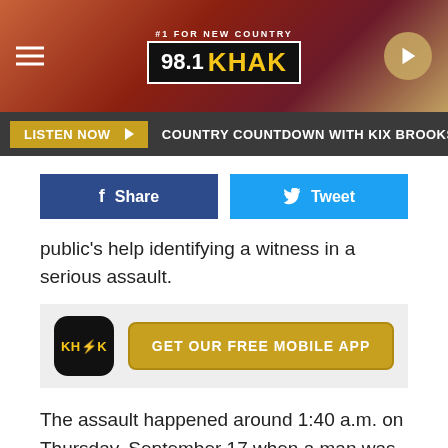[Figure (screenshot): 98.1 KHAK radio station header banner with logo, hamburger menu, and play button]
LISTEN NOW ▶  COUNTRY COUNTDOWN WITH KIX BROOKS  AME
[Figure (infographic): Facebook Share button and Twitter Tweet button row]
public's help identifying a witness in a serious assault.
[Figure (infographic): GET OUR FREE MOBILE APP promo banner with KHAK app icon]
The assault happened around 1:40 a.m. on Thursday, September 17 when a man was assaulted in the 300 block of 2nd Avenue SE. The report states that a "man sustained